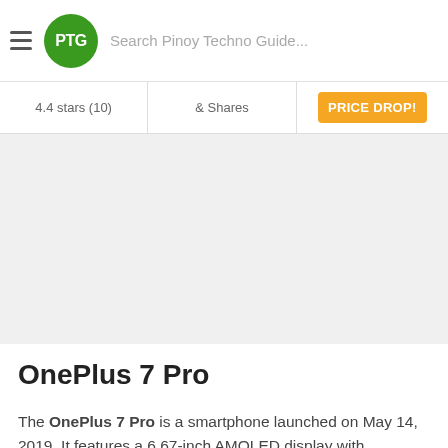PTG Search Pinoy Techno Guide...
4.4 stars (10)  & Shares  PRICE DROP!
[Figure (other): Gray advertisement placeholder area]
OnePlus 7 Pro
The OnePlus 7 Pro is a smartphone launched on May 14, 2019. It features a 6.67-inch AMOLED display with